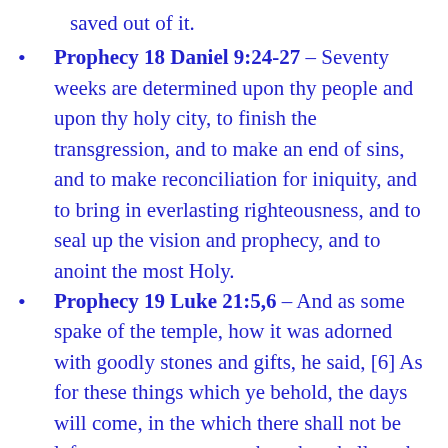saved out of it.
Prophecy 18 Daniel 9:24-27 – Seventy weeks are determined upon thy people and upon thy holy city, to finish the transgression, and to make an end of sins, and to make reconciliation for iniquity, and to bring in everlasting righteousness, and to seal up the vision and prophecy, and to anoint the most Holy.
Prophecy 19 Luke 21:5,6 – And as some spake of the temple, how it was adorned with goodly stones and gifts, he said, [6] As for these things which ye behold, the days will come, in the which there shall not be left one stone upon another, that shall not be thrown down.